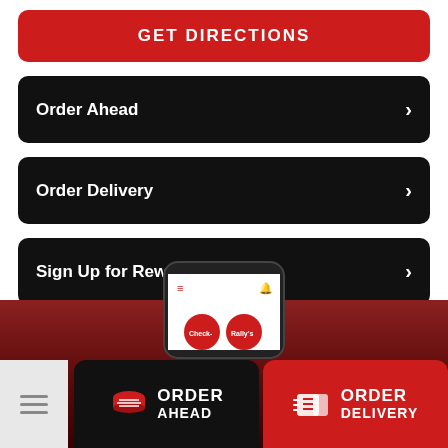GET DIRECTIONS
Order Ahead
Order Delivery
Sign Up for Rewards
[Figure (screenshot): Mobile phone screen showing Checkers/Rally's app with logo buttons]
ORDER AHEAD
ORDER DELIVERY